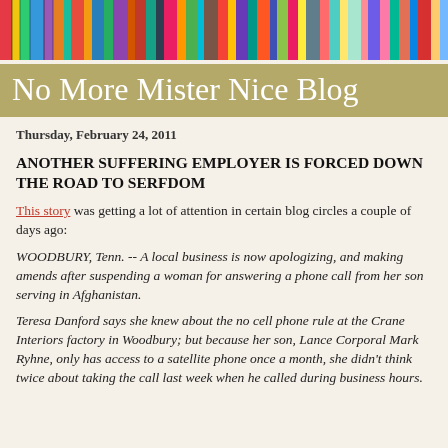[Figure (photo): Colorful book spines arranged horizontally, serving as the blog header image banner]
No More Mister Nice Blog
Thursday, February 24, 2011
ANOTHER SUFFERING EMPLOYER IS FORCED DOWN THE ROAD TO SERFDOM
This story was getting a lot of attention in certain blog circles a couple of days ago:
WOODBURY, Tenn. -- A local business is now apologizing, and making amends after suspending a woman for answering a phone call from her son serving in Afghanistan.
Teresa Danford says she knew about the no cell phone rule at the Crane Interiors factory in Woodbury; but because her son, Lance Corporal Mark Ryhne, only has access to a satellite phone once a month, she didn't think twice about taking the call last week when he called during business hours.